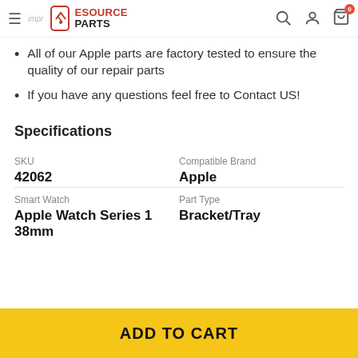ESOURCE PARTS
All of our Apple parts are factory tested to ensure the quality of our repair parts
If you have any questions feel free to Contact US!
Specifications
| SKU | Compatible Brand | Smart Watch | Part Type |
| --- | --- | --- | --- |
| 42062 | Apple | Apple Watch Series 1 38mm | Bracket/Tray |
ADD TO CART